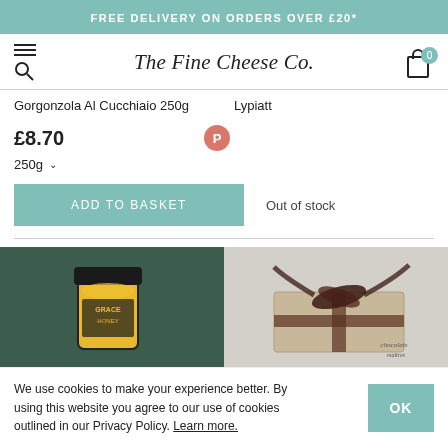FREE DELIVERY ON ORDERS OVER £20*
[Figure (logo): The Fine Cheese Co. logo in cursive script with hamburger/search icons left and cart icon right]
Gorgonzola Al Cucchiaio 250g
Lypiatt
£8.70
250g ▾
ADD TO BASKET
Out of stock
[Figure (photo): Jar of Grace food product on dark green marble background]
[Figure (photo): Wrapped gift/cheese with dark brown ribbon on light marble background]
We use cookies to make your experience better. By using this website you agree to our use of cookies outlined in our Privacy Policy. Learn more.